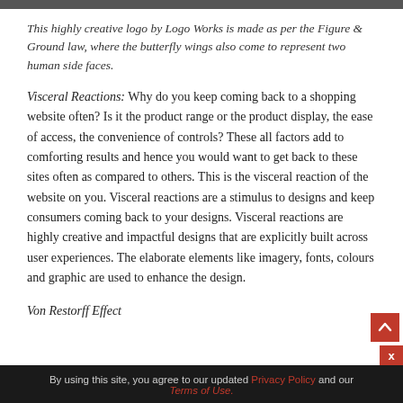This highly creative logo by Logo Works is made as per the Figure & Ground law, where the butterfly wings also come to represent two human side faces.
Visceral Reactions: Why do you keep coming back to a shopping website often? Is it the product range or the product display, the ease of access, the convenience of controls? These all factors add to comforting results and hence you would want to get back to these sites often as compared to others. This is the visceral reaction of the website on you. Visceral reactions are a stimulus to designs and keep consumers coming back to your designs. Visceral reactions are highly creative and impactful designs that are explicitly built across user experiences. The elaborate elements like imagery, fonts, colours and graphic are used to enhance the design.
Von Restorff Effect
By using this site, you agree to our updated Privacy Policy and our Terms of Use.